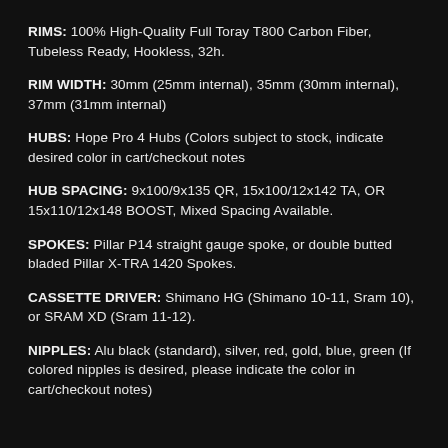RIMS: 100% High-Quality Full Toray T800 Carbon Fiber, Tubeless Ready, Hookless, 32h.
RIM WIDTH: 30mm (25mm internal), 35mm (30mm internal), 37mm (31mm internal)
HUBS: Hope Pro 4 Hubs (Colors subject to stock, indicate desired color in cart/checkout notes
HUB SPACING: 9x100/9x135 QR, 15x100/12x142 TA, OR 15x110/12x148 BOOST, Mixed Spacing Available.
SPOKES: Pillar P14 straight gauge spoke, or double butted bladed Pillar X-TRA 1420 Spokes.
CASSETTE DRIVER: Shimano HG (Shimano 10-11, Sram 10), or SRAM XD (Sram 11-12).
NIPPLES: Alu black (standard), silver, red, gold, blue, green (If colored nipples is desired, please indicate the color in cart/checkout notes)